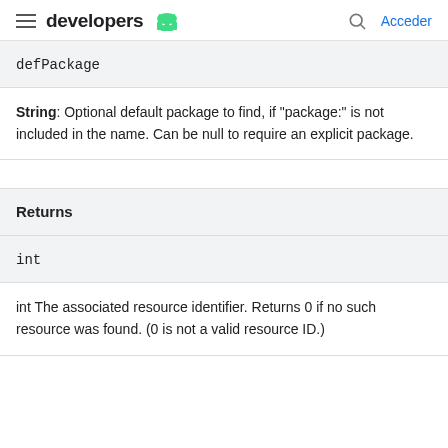developers [android logo] | Acceder
defPackage
String: Optional default package to find, if "package:" is not included in the name. Can be null to require an explicit package.
Returns
int
int The associated resource identifier. Returns 0 if no such resource was found. (0 is not a valid resource ID.)